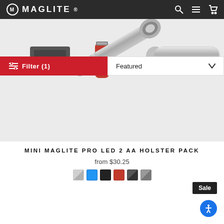MAGLITE
[Figure (photo): Product photo of Mini MagLite Pro LED 2 AA flashlight with batteries, partially obscured by Filter and Featured sort controls overlaid on top]
Filter (1)
Featured
MINI MAGLITE PRO LED 2 AA HOLSTER PACK
from $30.25
[Figure (illustration): Six color swatches: silver, blue, black, red, dark grey, and grey]
Sale